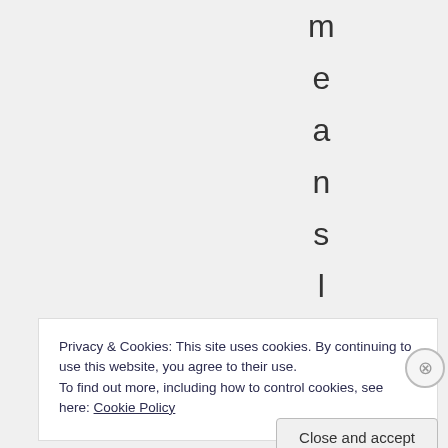m e a n s l , m n o t
Privacy & Cookies: This site uses cookies. By continuing to use this website, you agree to their use.
To find out more, including how to control cookies, see here: Cookie Policy
Close and accept